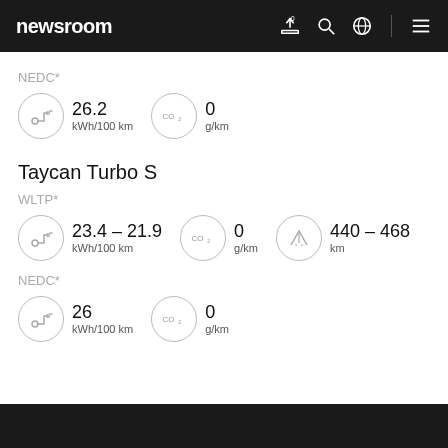newsroom
NEDC*
26.2 kWh/100 km | 0 g/km
Taycan Turbo S
WLTP*
23.4 – 21.9 kWh/100 km | 0 g/km | 440 – 468 km
NEDC*
26 kWh/100 km | 0 g/km